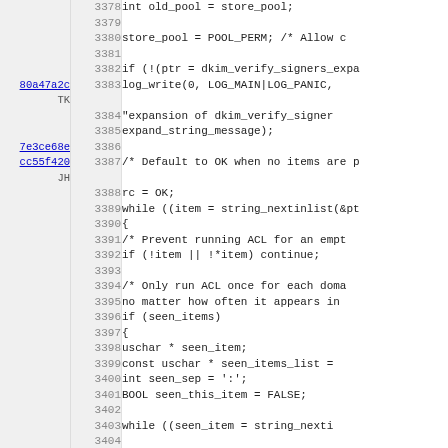[Figure (screenshot): Source code viewer showing C code lines 3378-3410 with line numbers, commit annotations (80a47a2c by TK, 7e3ce68e, cc55f420 by JH), and code content including dkim_verify_signers expansion logic, ACL loop with seen_items deduplication.]